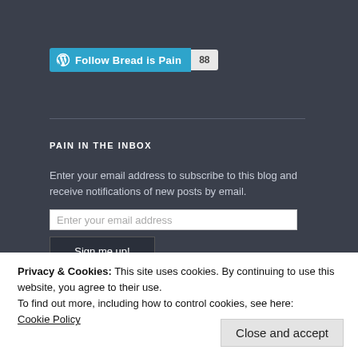[Figure (screenshot): WordPress Follow button with 'Follow Bread is Pain' label in teal/blue and a count badge showing '88']
PAIN IN THE INBOX
Enter your email address to subscribe to this blog and receive notifications of new posts by email.
Privacy & Cookies: This site uses cookies. By continuing to use this website, you agree to their use.
To find out more, including how to control cookies, see here: Cookie Policy